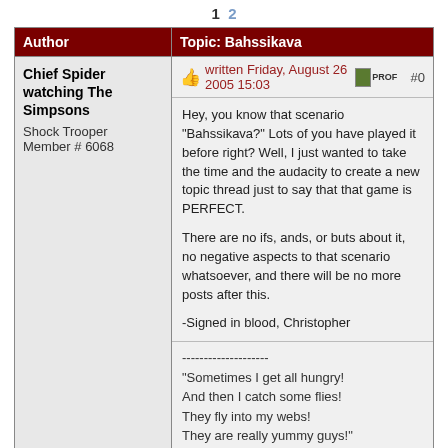1  2
| Author | Topic: Bahssikava |
| --- | --- |
| Chief Spider watching The Simpsons
Shock Trooper
Member # 6068 | written Friday, August 26 2005 15:03 #0
Hey, you know that scenario "Bahssikava?" Lots of you have played it before right? Well, I just wanted to take the time and the audacity to create a new topic thread just to say that that game is PERFECT.

There are no ifs, ands, or buts about it, no negative aspects to that scenario whatsoever, and there will be no more posts after this.

-Signed in blood, Christopher

--------------------
"Sometimes I get all hungry!
And then I catch some flies!
They fly into my webs!
They are really yummy guys!"
-Spider

Posts: 209 | Registered: Monday, July 4 2005 07:00 |